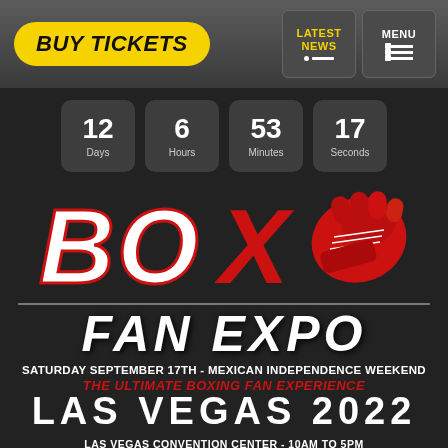[Figure (screenshot): Boxing Fan Expo event page with navigation bar, countdown timer, BOX logo with boxing glove, FAN EXPO text, and event details for Las Vegas 2022]
BUY TICKETS
LATEST NEWS
MENU
12 Days  6 Hours  53 Minutes  17 Seconds
BOX FAN EXPO
SATURDAY SEPTEMBER 17TH - MEXICAN INDEPENDENCE WEEKEND
THE ULTIMATE BOXING FAN EXPERIENCE
LAS VEGAS 2022
LAS VEGAS CONVENTION CENTER - 10AM TO 5PM